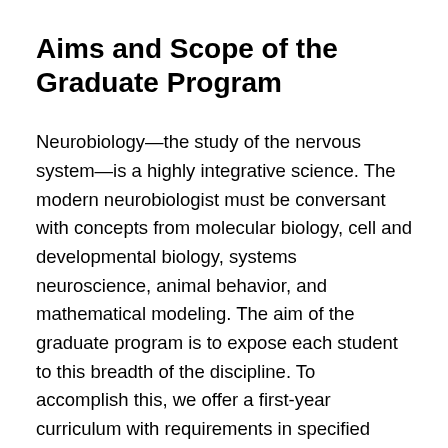Aims and Scope of the Graduate Program
Neurobiology—the study of the nervous system—is a highly integrative science. The modern neurobiologist must be conversant with concepts from molecular biology, cell and developmental biology, systems neuroscience, animal behavior, and mathematical modeling. The aim of the graduate program is to expose each student to this breadth of the discipline. To accomplish this, we offer a first-year curriculum with requirements in specified areas, along with a core course that spans many subjects. Students enter neurobiology from many different disciplines, ranging from particle physics to physiology to psychology. Accordingly, each Ph.D. student is paired with a first-year adviser so the course selections can best complement the student's